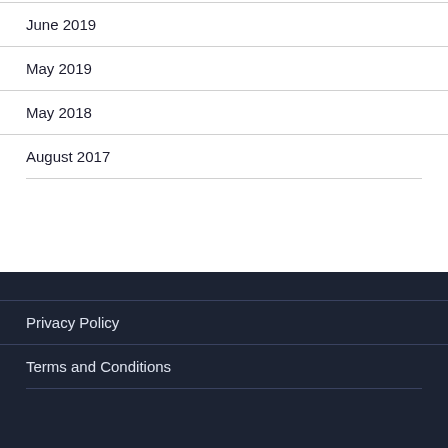June 2019
May 2019
May 2018
August 2017
Privacy Policy
Terms and Conditions